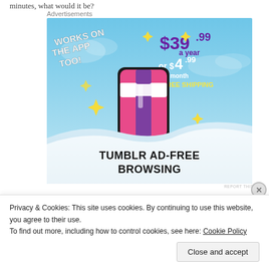minutes, what would it be?
Advertisements
[Figure (illustration): Tumblr Ad-Free Browsing advertisement. Sky blue background with clouds. Large stylized Tumblr 't' logo in pink/purple/white with black outline and sparkle stars. Text: 'WORKS ON THE APP TOO!' in white on left. Price: '$39.99 a year' in purple, 'or $4.99 a month' in white, '+ FREE SHIPPING' in yellow/gold. Bottom section: 'TUMBLR AD-FREE BROWSING' in large black bold text on white/silver wave background.]
REPORT THIS AD
Privacy & Cookies: This site uses cookies. By continuing to use this website, you agree to their use.
To find out more, including how to control cookies, see here: Cookie Policy
Close and accept